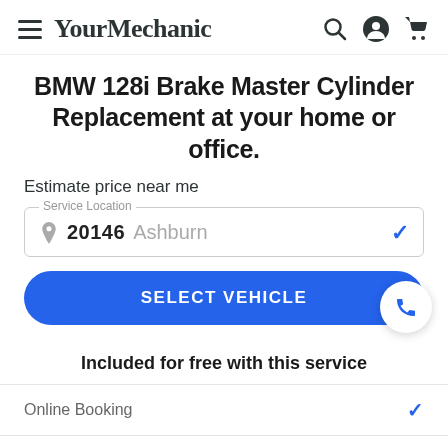YourMechanic
BMW 128i Brake Master Cylinder Replacement at your home or office.
Estimate price near me
Service Location
20146  Ashburn
SELECT VEHICLE
Included for free with this service
Online Booking
Mechanic comes to you